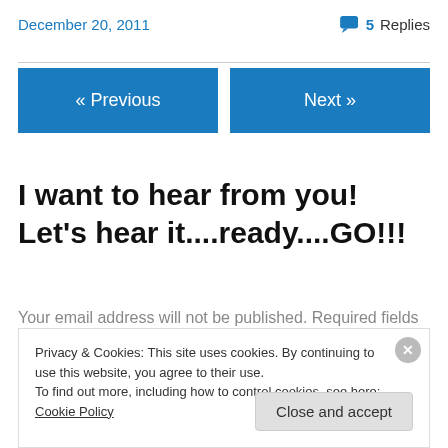December 20, 2011
5 Replies
« Previous
Next »
I want to hear from you! Let's hear it....ready....GO!!!
Your email address will not be published. Required fields are marked *
Privacy & Cookies: This site uses cookies. By continuing to use this website, you agree to their use. To find out more, including how to control cookies, see here: Cookie Policy
Close and accept